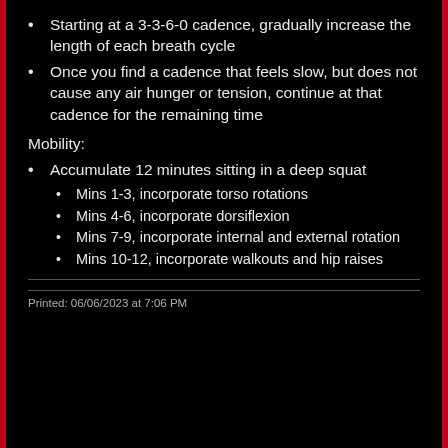Starting at a 3-3-6-0 cadence, gradually increase the length of each breath cycle
Once you find a cadence that feels slow, but does not cause any air hunger or tension, continue at that cadence for the remaining time
Mobility:
Accumulate 12 minutes sitting in a deep squat
Mins 1-3, incorporate torso rotations
Mins 4-6, incorporate dorsiflexion
Mins 7-9, incorporate internal and external rotation
Mins 10-12, incorporate walkouts and hip raises
Printed: 06/06/2023 at 7:06 PM